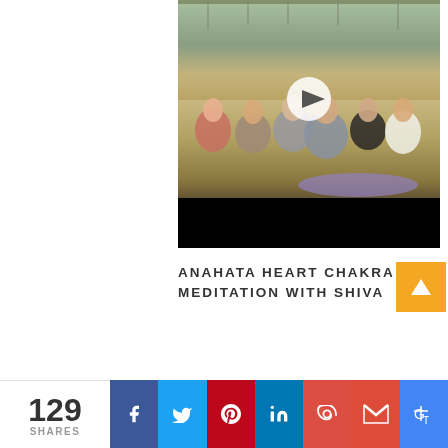[Figure (photo): Video thumbnail showing a group meditation/yoga session on a wooden deck in an open-air pavilion with a glass ceiling. People are seated in lotus position. A play button is visible in the center of the video.]
ANAHATA HEART CHAKRA MEDITATION WITH SHIVA
129 SHARES